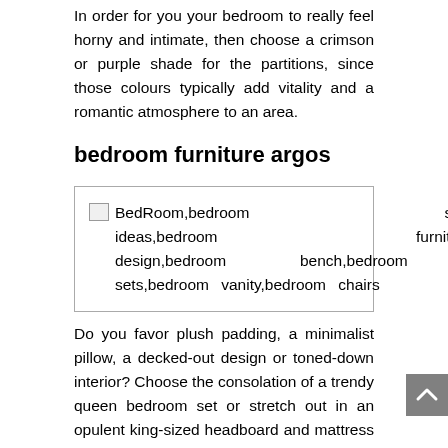In order for you your bedroom to really feel horny and intimate, then choose a crimson or purple shade for the partitions, since those colours typically add vitality and a romantic atmosphere to an area.
bedroom furniture argos
[Figure (other): Broken image placeholder with alt text listing bedroom keywords: BedRoom,bedroom sets,bedroom ideas,bedroom furniture,bedroom design,bedroom bench,bedroom furniture sets,bedroom vanity,bedroom chairs]
Do you favor plush padding, a minimalist pillow, a decked-out design or toned-down interior? Choose the consolation of a trendy queen bedroom set or stretch out in an opulent king-sized headboard and mattress set, each accessible according to your price range and area. Those that desire traditional components will probably be drawn to bedroom sets with a sleigh-